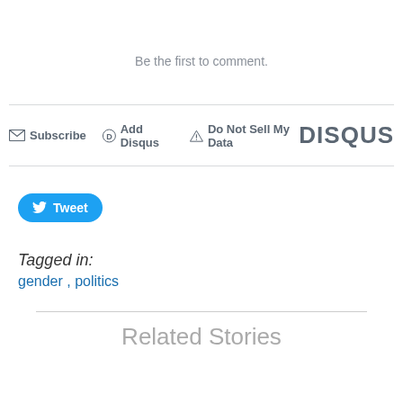Be the first to comment.
Subscribe  Add Disqus  Do Not Sell My Data  DISQUS
[Figure (other): Tweet button with Twitter bird icon]
Tagged in:
gender ,  politics
Related Stories